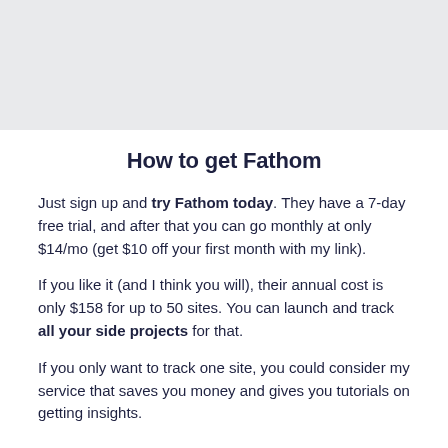How to get Fathom
Just sign up and try Fathom today. They have a 7-day free trial, and after that you can go monthly at only $14/mo (get $10 off your first month with my link).
If you like it (and I think you will), their annual cost is only $158 for up to 50 sites. You can launch and track all your side projects for that.
If you only want to track one site, you could consider my service that saves you money and gives you tutorials on getting insights.